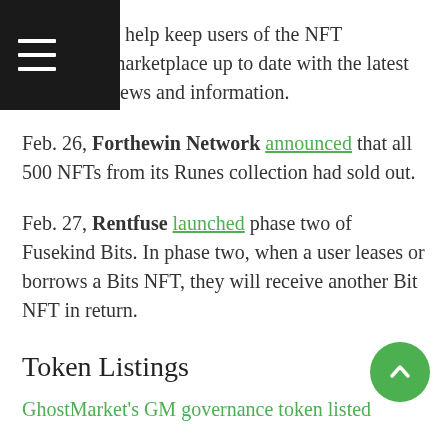o help keep users of the NFT marketplace up to date with the latest news and information.
Feb. 26, Forthewin Network announced that all 500 NFTs from its Runes collection had sold out.
Feb. 27, Rentfuse launched phase two of Fusekind Bits. In phase two, when a user leases or borrows a Bits NFT, they will receive another Bit NFT in return.
Token Listings
GhostMarket's GM governance token listed